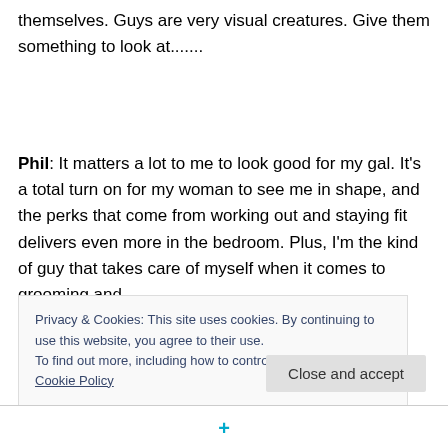themselves. Guys are very visual creatures. Give them something to look at.......
Phil:  It matters a lot to me to look good for my gal. It's a total turn on for my woman to see me in shape, and the perks that come from working out and staying fit delivers even more in the bedroom. Plus, I'm the kind of guy that takes care of myself when it comes to grooming and
Privacy & Cookies: This site uses cookies. By continuing to use this website, you agree to their use.
To find out more, including how to control cookies, see here: Cookie Policy
Close and accept